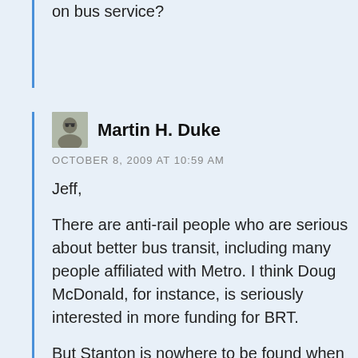on bus service?
Martin H. Duke
OCTOBER 8, 2009 AT 10:59 AM
Jeff,

There are anti-rail people who are serious about better bus transit, including many people affiliated with Metro. I think Doug McDonald, for instance, is seriously interested in more funding for BRT.

But Stanton is nowhere to be found when things like TransitNow go to the ballot. He's